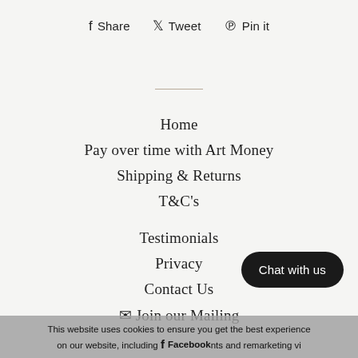Share  Tweet  Pin it
Home
Pay over time with Art Money
Shipping & Returns
T&C's
Testimonials
Privacy
Contact Us
✉ Join our Mailing
Chat with us
This website uses cookies to ensure you get the best experience on our website, including for payments and remarketing vi...
Facebook